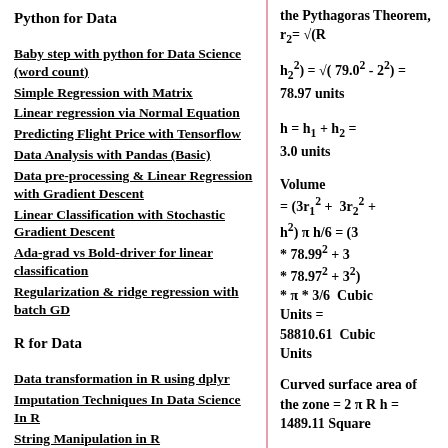Python for Data
Baby step with python for Data Science (word count)
Simple Regression with Matrix
Linear regression via Normal Equation
Predicting Flight Price with Tensorflow
Data Analysis with Pandas (Basic)
Data pre-processing & Linear Regression with Gradient Descent
Linear Classification with Stochastic Gradient Descent
Ada-grad vs Bold-driver for linear classification
Regularization & ridge regression with batch GD
R for Data
Data transformation in R using dplyr
Imputation Techniques In Data Science In R
String Manipulation in R
the Pythagoras Theorem,  r₂= √(R
h₂²) = √( 79.0² - 2²) = 78.97 units
h = h₁ + h₂ = 3.0 units
Volume = (3r₁² + 3r₂² + h²) π h/6 = (3 * 78.99² + 3 * 78.97² + 3²) * π * 3/6  Cubic Units = 58810.61  Cubic Units
Curved surface area of the zone = 2 π R h = 1489.11 Square